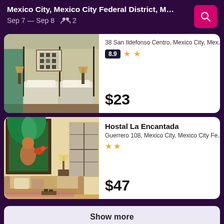Mexico City, Mexico City Federal District, Mexi...  Sep 7 — Sep 8  👥 2
[Figure (photo): Hotel bedroom with two single beds, white linens, wall lamps, and a framed artwork on the wall]
38 San Ildefonso Centro, Mexico City, Mex...
8.9  ★ ★
$23
[Figure (photo): Hostal living room with sofa, colorful painting of a woman with a parrot, lamp, and window]
Hostal La Encantada
Guerrero 108, Mexico City, Mexico City Fe...
★ ★
$47
Show more